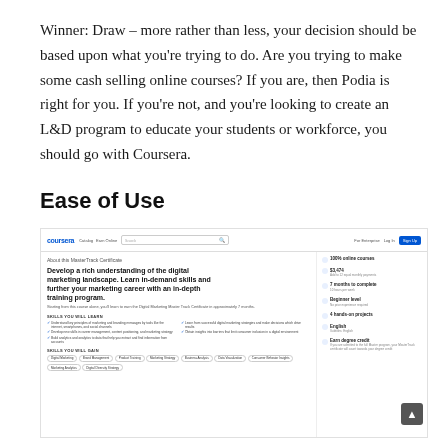Winner: Draw – more rather than less, your decision should be based upon what you're trying to do. Are you trying to make some cash selling online courses? If you are, then Podia is right for you. If you're not, and you're looking to create an L&D program to educate your students or workforce, you should go with Coursera.
Ease of Use
[Figure (screenshot): Screenshot of Coursera website showing a MasterTrack Certificate page for a digital marketing program. The page includes a navigation bar with the Coursera logo, search bar, and sign-up button. The main content shows the course title 'Develop a rich understanding of the digital marketing landscape. Learn in-demand skills and further your marketing career with an in-depth training program.' with a sidebar showing '100% online courses', '$3,474', '7 months to complete', 'Beginner level', '4 hands-on projects', 'English', and 'Earn degree credit'. The bottom shows skills tags including Digital Marketing, Brand Management, Public Training, Marketing Strategy, Business Analysis, Data Visualization, Consumer Behavior Insights, Marketing Analytics, Digital Diversity Strategy.]